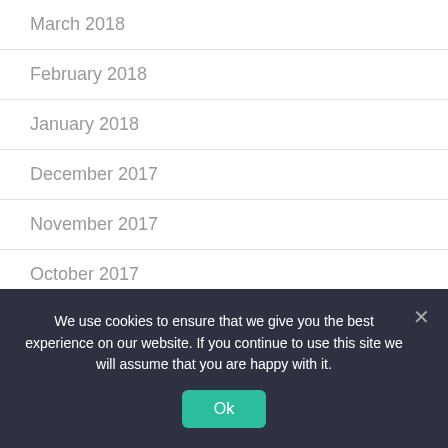March 2018
February 2018
January 2018
December 2017
November 2017
October 2017
September 2017
August 2017
July 2017
We use cookies to ensure that we give you the best experience on our website. If you continue to use this site we will assume that you are happy with it.